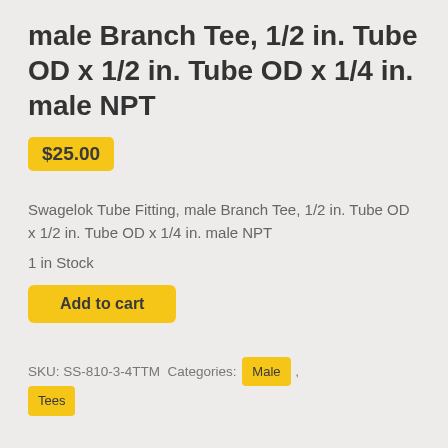male Branch Tee, 1/2 in. Tube OD x 1/2 in. Tube OD x 1/4 in. male NPT
$25.00
Swagelok Tube Fitting, male Branch Tee, 1/2 in. Tube OD x 1/2 in. Tube OD x 1/4 in. male NPT
1 in Stock
Add to cart
SKU: SS-810-3-4TTM Categories: Male , Tees